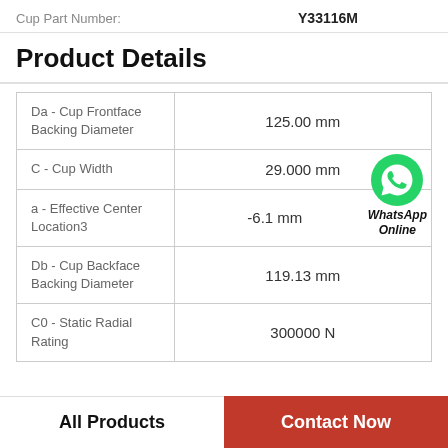Cup Part Number: Y33116M
Product Details
| Property | Value |
| --- | --- |
| Da - Cup Frontface Backing Diameter | 125.00 mm |
| C - Cup Width | 29.000 mm |
| a - Effective Center Location3 | -6.1 mm |
| Db - Cup Backface Backing Diameter | 119.13 mm |
| C0 - Static Radial Rating | 300000 N |
[Figure (logo): WhatsApp Online green phone icon with text 'WhatsApp Online']
All Products
Contact Now